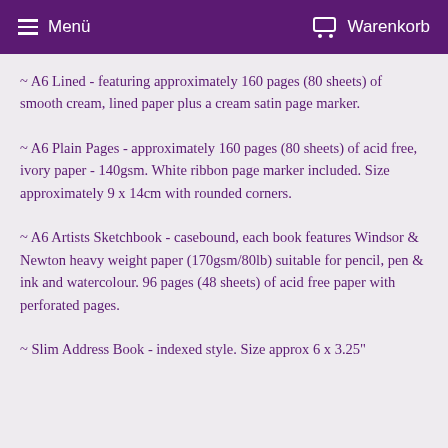Menü | Warenkorb
~ A6 Lined - featuring approximately 160 pages (80 sheets) of smooth cream, lined paper plus a cream satin page marker.
~ A6 Plain Pages - approximately 160 pages (80 sheets) of acid free, ivory paper - 140gsm. White ribbon page marker included. Size approximately 9 x 14cm with rounded corners.
~ A6 Artists Sketchbook - casebound, each book features Windsor & Newton heavy weight paper (170gsm/80lb) suitable for pencil, pen & ink and watercolour. 96 pages (48 sheets) of acid free paper with perforated pages.
~ Slim Address Book - indexed style. Size approx 6 x 3.25"